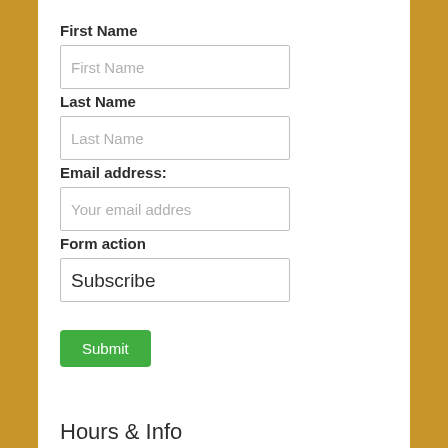First Name
[Figure (screenshot): Text input field with placeholder text 'First Name']
Last Name
[Figure (screenshot): Text input field with placeholder text 'Last Name']
Email address:
[Figure (screenshot): Text input field with placeholder text 'Your email address']
Form action
[Figure (screenshot): Text input field with value 'Subscribe']
[Figure (screenshot): Green Submit button]
Hours & Info
7513 S. Northshore